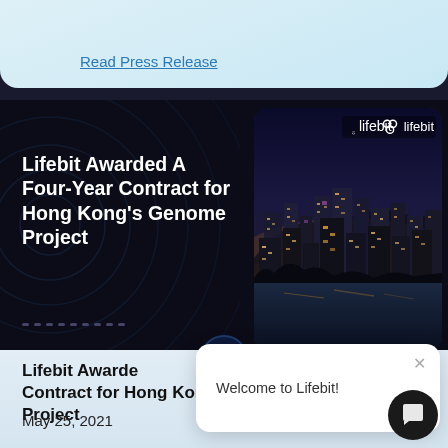Read Press Release
Lifebit Awarded A Four-Year Contract for Hong Kong's Genome Project
[Figure (photo): Aerial night view of Hong Kong city skyline with Lifebit logo overlay]
Lifebit Awarded A Four-Year Contract for Hong Kong's Genome Project
May 25, 2021
Welcome to Lifebit!